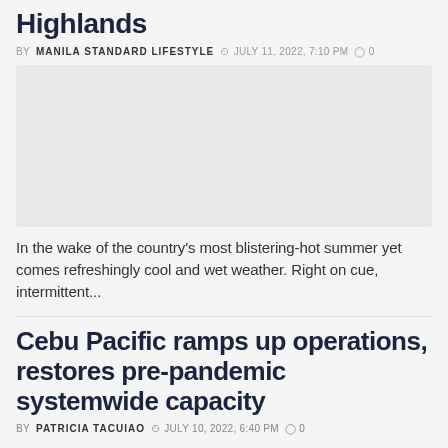Highlands
BY MANILA STANDARD LIFESTYLE  JULY 11, 2022, 7:10 PM  0
[Figure (photo): Gray placeholder image for article about Highlands]
In the wake of the country's most blistering-hot summer yet comes refreshingly cool and wet weather. Right on cue, intermittent...
Cebu Pacific ramps up operations, restores pre-pandemic systemwide capacity
BY PATRICIA TACUIAO  JULY 10, 2022, 6:40 PM  0